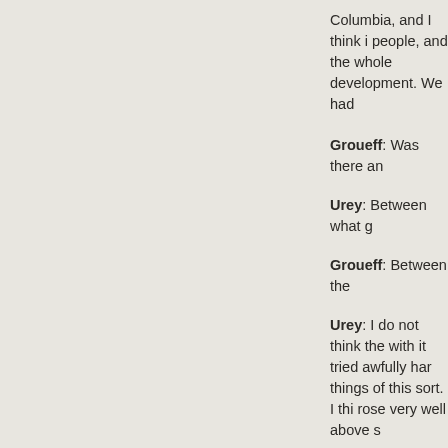Columbia, and I think it people, and the whole development. We had
Groueff: Was there an
Urey: Between what g
Groueff: Between the
Urey: I do not think the with it tried awfully hard things of this sort. I thi rose very well above s
Groueff: Everybody tri
Urey: That is right.
Groueff: [Judson] Swe
Urey: Who?